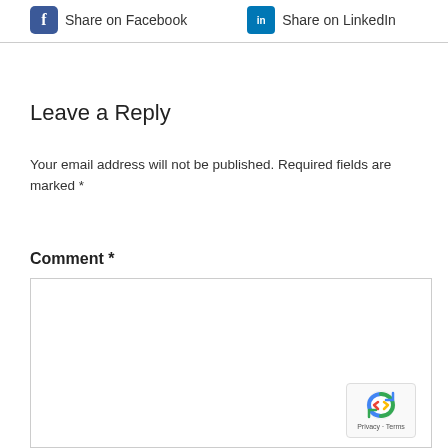Share on Facebook   Share on LinkedIn
Leave a Reply
Your email address will not be published. Required fields are marked *
Comment *
[Figure (other): Empty comment text area input box]